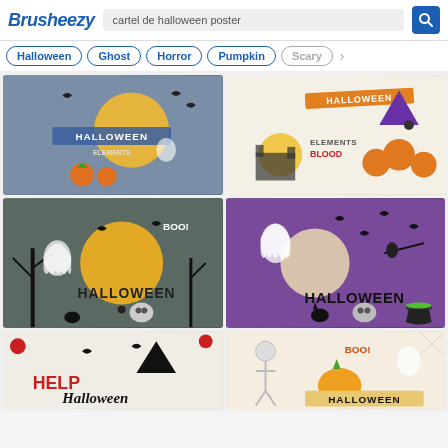Brusheezy — cartel de halloween poster
Halloween
Ghost
Horror
Pumpkin
Scary
[Figure (illustration): Halloween elements clipart on blue-gray background with pumpkins, moon, bats, banner reading HALLOWEEN ELEMENTS]
[Figure (illustration): Halloween elements clipart on white background with pumpkins, witch hat, spider, text HALLOWEEN ELEMENTS BLOOD]
[Figure (illustration): Halloween poster on dark teal background with ghosts, bats, moon, trees, skull, spider, text BOO! HALLOWEEN]
[Figure (illustration): Halloween poster on purple background with ghost, bats, cat, skull, cauldron, text HALLOWEEN]
[Figure (illustration): Halloween elements on white background with spiders, bats, witch hat, text HELP Halloween]
[Figure (illustration): Halloween poster on white/cream background with skeletons, pumpkin, ghost, text BOO! HALLOWEEN]